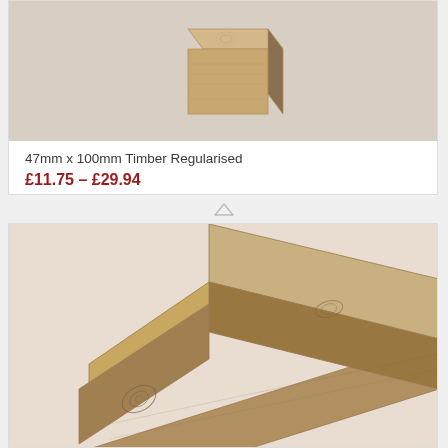[Figure (photo): Photo of a timber/wood block piece (47mm x 100mm regularised timber) showing end grain and side, on white background - partially cropped at top]
47mm x 100mm Timber Regularised
£11.75 – £29.94
[Figure (photo): Photo of a long rectangular timber/wood piece (regularised timber) shown diagonally, displaying the top face, side face and end grain, with visible wood grain and knots against white background]